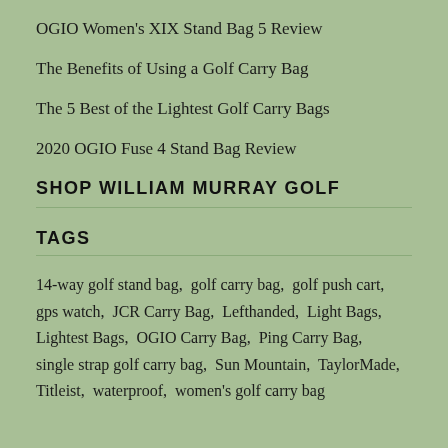OGIO Women's XIX Stand Bag 5 Review
The Benefits of Using a Golf Carry Bag
The 5 Best of the Lightest Golf Carry Bags
2020 OGIO Fuse 4 Stand Bag Review
SHOP WILLIAM MURRAY GOLF
TAGS
14-way golf stand bag,  golf carry bag,  golf push cart,  gps watch,  JCR Carry Bag,  Lefthanded,  Light Bags,  Lightest Bags,  OGIO Carry Bag,  Ping Carry Bag,  single strap golf carry bag,  Sun Mountain,  TaylorMade,  Titleist,  waterproof,  women's golf carry bag